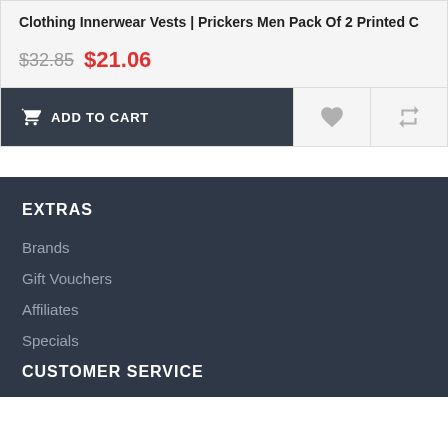Clothing Innerwear Vests | Prickers Men Pack Of 2 Printed C
$32.85  $21.06
ADD TO CART
EXTRAS
Brands
Gift Vouchers
Affiliates
Specials
CUSTOMER SERVICE